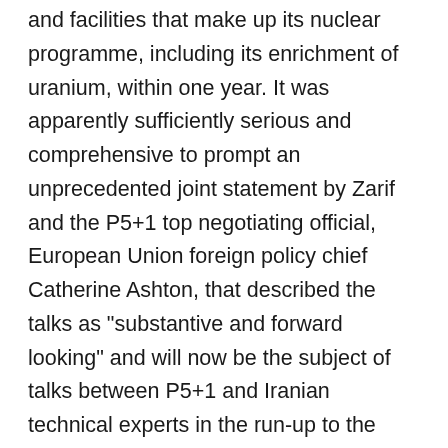and facilities that make up its nuclear programme, including its enrichment of uranium, within one year. It was apparently sufficiently serious and comprehensive to prompt an unprecedented joint statement by Zarif and the P5+1 top negotiating official, European Union foreign policy chief Catherine Ashton, that described the talks as "substantive and forward looking" and will now be the subject of talks between P5+1 and Iranian technical experts in the run-up to the Nov. 7-8 meeting.
It also appears to have put the hawks, who are particularly worried that Obama could soon begin easing existing sanctions in exchange for Iranian concessions as part of a confidence-building process, on the back foot.